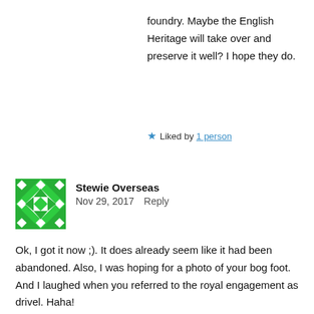foundry. Maybe the English Heritage will take over and preserve it well? I hope they do.
★ Liked by 1 person
Stewie Overseas
Nov 29, 2017   Reply
Ok, I got it now ;). It does already seem like it had been abandoned. Also, I was hoping for a photo of your bog foot. And I laughed when you referred to the royal engagement as drivel. Haha!